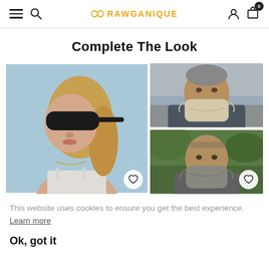RAWGANIQUE
Complete The Look
[Figure (photo): Woman wearing a black sleep eye mask, blonde hair, light blue background]
[Figure (photo): Man wearing a beige fabric face mask outdoors near water, and a man wearing a grey fabric face mask]
This website uses cookies to ensure you get the best experience. Learn more
Ok, got it